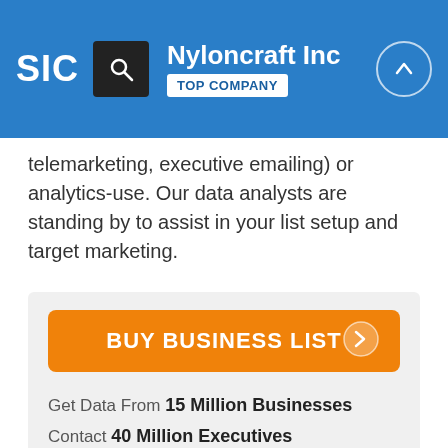SIC | Nyloncraft Inc | TOP COMPANY
telemarketing, executive emailing) or analytics-use. Our data analysts are standing by to assist in your list setup and target marketing.
[Figure (infographic): Orange 'BUY BUSINESS LIST' button with right arrow icon on a light grey box background]
Get Data From 15 Million Businesses
Contact 40 Million Executives